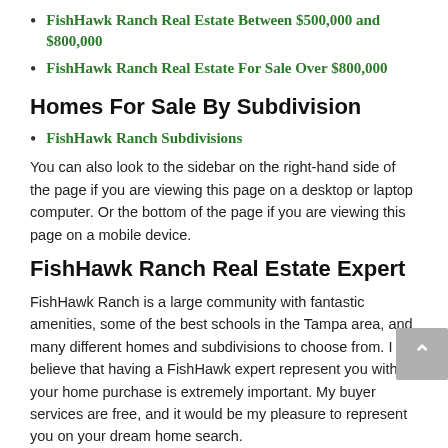FishHawk Ranch Real Estate Between $500,000 and $800,000
FishHawk Ranch Real Estate For Sale Over $800,000
Homes For Sale By Subdivision
FishHawk Ranch Subdivisions
You can also look to the sidebar on the right-hand side of the page if you are viewing this page on a desktop or laptop computer. Or the bottom of the page if you are viewing this page on a mobile device.
FishHawk Ranch Real Estate Expert
FishHawk Ranch is a large community with fantastic amenities, some of the best schools in the Tampa area, and many different homes and subdivisions to choose from. I believe that having a FishHawk expert represent you with your home purchase is extremely important. My buyer services are free, and it would be my pleasure to represent you on your dream home search.